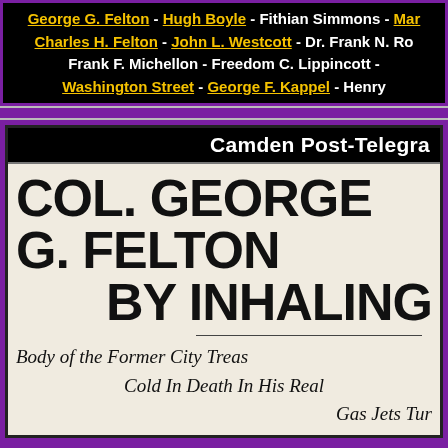George G. Felton - Hugh Boyle - Fithian Simmons - [Mar...] - Charles H. Felton - John L. Westcott - Dr. Frank N. Ro... - Frank F. Michellon - Freedom C. Lippincott - Washington Street - George F. Kappel - Henry [...]
Camden Post-Telegra...
COL. GEORGE G. FELTON... BY INHALING...
Body of the Former City Treas... Cold In Death In His Real... Gas Jets Tur...